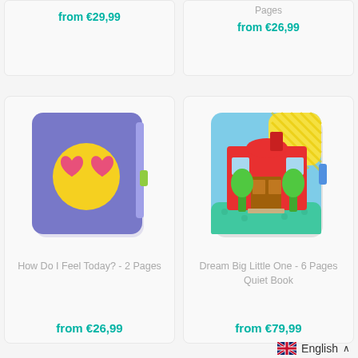from €29,99
Pages
from €26,99
[Figure (photo): Blue quiet book with emoji face (heart eyes, yellow face, green smile) on the cover]
How Do I Feel Today? - 2 Pages
from €26,99
[Figure (photo): Quiet book showing a red school building with green trees on a light blue and yellow cover]
Dream Big Little One - 6 Pages Quiet Book
from €79,99
English